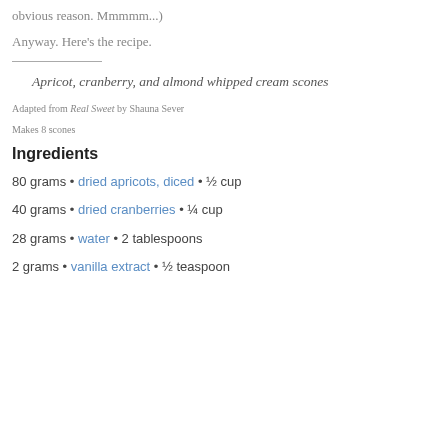obvious reason. Mmmmm...)
Anyway. Here's the recipe.
Apricot, cranberry, and almond whipped cream scones
Adapted from Real Sweet by Shauna Sever
Makes 8 scones
Ingredients
80 grams • dried apricots, diced • ½ cup
40 grams • dried cranberries • ¼ cup
28 grams • water • 2 tablespoons
2 grams • vanilla extract • ½ teaspoon